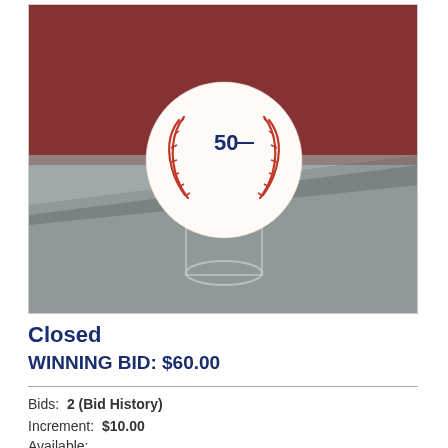[Figure (photo): A white baseball with red stitching and a '50' anniversary logo, displayed on a clear acrylic stand holder, resting on a gray cloth surface with a reddish-brown background.]
Closed
WINNING BID: $60.00
Bids: 2 (Bid History)
Increment: $10.00
Available: